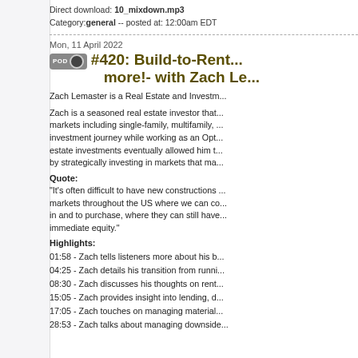Direct download: 10_mixdown.mp3
Category: general -- posted at: 12:00am EDT
Mon, 11 April 2022
#420: Build-to-Rent... more!- with Zach Le...
Zach Lemaster is a Real Estate and Investm...
Zach is a seasoned real estate investor that... markets including single-family, multifamily, ... investment journey while working as an Opt... estate investments eventually allowed him t... by strategically investing in markets that ma...
Quote:
“It’s often difficult to have new constructions ... markets throughout the US where we can c... in and to purchase, where they can still hav... immediate equity.”
Highlights:
01:58 - Zach tells listeners more about his b...
04:25 - Zach details his transition from runni...
08:30 - Zach discusses his thoughts on rent...
15:05 - Zach provides insight into lending, d...
17:05 - Zach touches on managing material...
28:53 - Zach talks about managing downside...